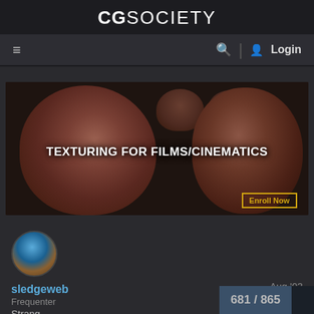CGSOCIETY
[Figure (screenshot): Navigation bar with hamburger menu, search icon, divider, user icon, and Login text on dark background]
[Figure (photo): Banner image showing 3D sculpted heads/faces with texturing, two skulls in background. Text overlay: TEXTURING FOR FILMS/CINEMATICS. Yellow-bordered Enroll Now button.]
[Figure (photo): User avatar - circular profile photo showing person with helmet and sunglasses]
sledgeweb
Aug '03
Frequenter
Strang-
You might be interested in my
681 / 865